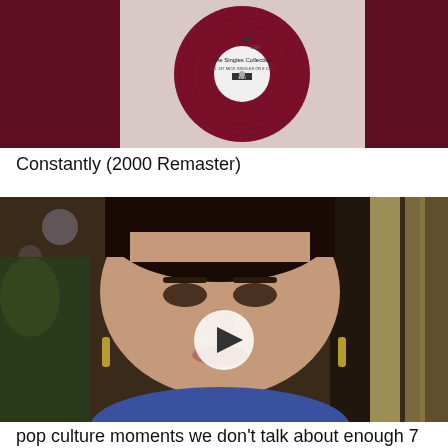[Figure (photo): Red vinyl record with white label reading 'The Singles Collection' against a dark maroon background]
Constantly (2000 Remaster)
[Figure (photo): Video thumbnail of a young woman with dark hair and gold hoop earrings, appearing on a late night talk show set, with a white play button overlay in the center]
pop culture moments we don't talk about enough 7